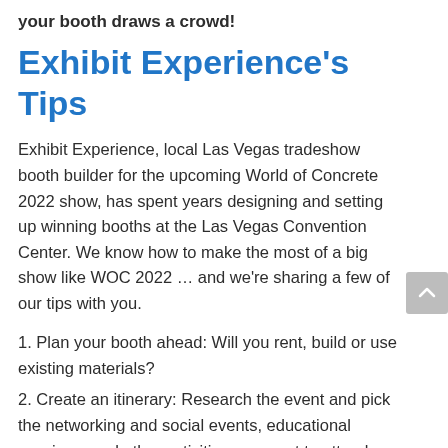your booth draws a crowd!
Exhibit Experience's Tips
Exhibit Experience, local Las Vegas tradeshow booth builder for the upcoming World of Concrete 2022 show, has spent years designing and setting up winning booths at the Las Vegas Convention Center. We know how to make the most of a big show like WOC 2022 … and we're sharing a few of our tips with you.
1. Plan your booth ahead: Will you rent, build or use existing materials?
2. Create an itinerary: Research the event and pick the networking and social events, educational sessions, and other activities you want to attend. This way, you and your team will know when you'll be at the booth.